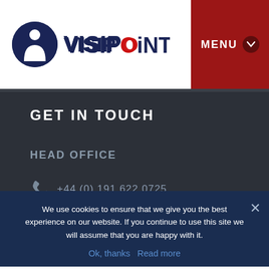[Figure (logo): VisiPoint logo: dark navy circle with white 'S' person icon, followed by 'VISIPOiNT' text in dark navy and red]
MENU
GET IN TOUCH
HEAD OFFICE
[Figure (other): Phone/telephone icon in grey]
+44 (0) 191 622 0725
We use cookies to ensure that we give you the best experience on our website. If you continue to use this site we will assume that you are happy with it.
Ok, thanks   Read more